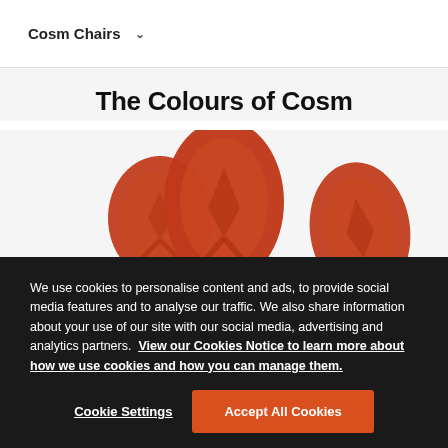Cosm Chairs ▾
The Colours of Cosm
[Figure (illustration): Three terracotta/rust-colored Cosm office chairs shown side by side — low-back on the left, high-back in the center, and a tilted view on the right, all on a light gray background]
We use cookies to personalise content and ads, to provide social media features and to analyse our traffic. We also share information about your use of our site with our social media, advertising and analytics partners. View our Cookies Notice to learn more about how we use cookies and how you can manage them.
Cookie Settings
Accept All Cookies